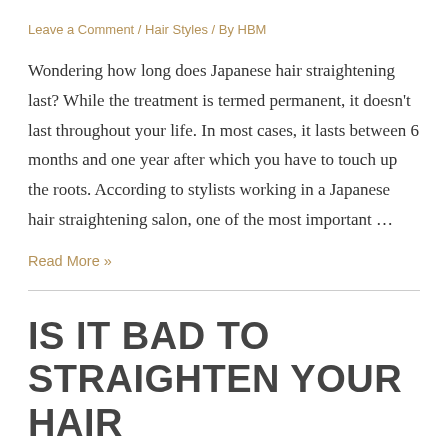Leave a Comment / Hair Styles / By HBM
Wondering how long does Japanese hair straightening last? While the treatment is termed permanent, it doesn't last throughout your life. In most cases, it lasts between 6 months and one year after which you have to touch up the roots. According to stylists working in a Japanese hair straightening salon, one of the most important …
Read More »
IS IT BAD TO STRAIGHTEN YOUR HAIR